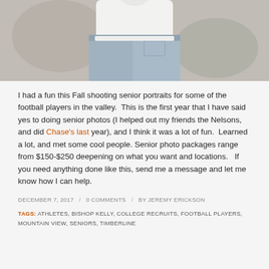[Figure (photo): Partial photo of a person wearing a white t-shirt and light blue jeans, cropped at torso level, outdoor background]
I had a fun this Fall shooting senior portraits for some of the football players in the valley.  This is the first year that I have said yes to doing senior photos (I helped out my friends the Nelsons, and did Chase's last year), and I think it was a lot of fun.  Learned a lot, and met some cool people. Senior photo packages range from $150-$250 deepening on what you want and locations.   If you need anything done like this, send me a message and let me know how I can help.
DECEMBER 7, 2017 / 0 COMMENTS / BY JEREMY ERICKSON
TAGS: ATHLETES, BISHOP KELLY, COLLEGE RECRUITS, FOOTBALL PLAYERS, MOUNTAIN VIEW, SENIORS, TIMBERLINE